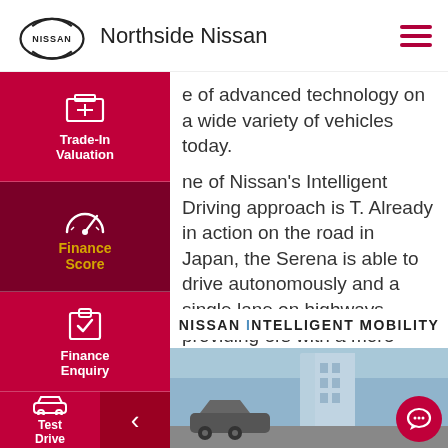Northside Nissan
e of advanced technology on a wide variety of vehicles today.
ne of Nissan's Intelligent Driving approach is T. Already in action on the road in Japan, the Serena is able to drive autonomously and a single lane on highways, providing ers with a more confident drive, enhanced and greater freedom.
[Figure (logo): NISSAN INTELLIGENT MOBILITY brand logo text]
[Figure (photo): Nissan vehicle and building exterior photo at bottom of page]